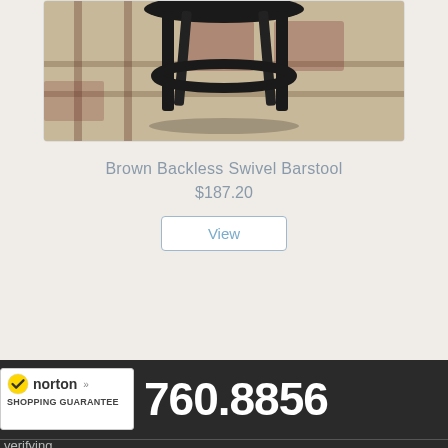[Figure (photo): Photo of a Brown Backless Swivel Barstool showing black wooden legs and circular footrest ring on a beige/tan rug with dark geometric pattern]
Brown Backless Swivel Barstool
$187.20
View
[Figure (logo): Norton Shopping Guarantee badge with checkmark logo]
760.8856
verifying...